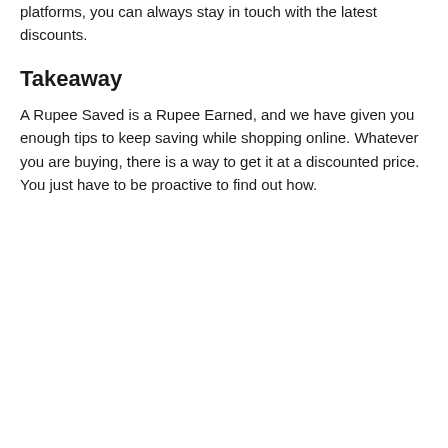platforms, you can always stay in touch with the latest discounts.
Takeaway
A Rupee Saved is a Rupee Earned, and we have given you enough tips to keep saving while shopping online. Whatever you are buying, there is a way to get it at a discounted price. You just have to be proactive to find out how.